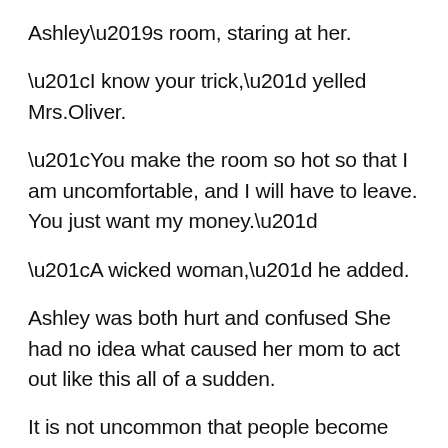Ashley's room, staring at her.
“I know your trick,” yelled Mrs.Oliver.
“You make the room so hot so that I am uncomfortable, and I will have to leave. You just want my money.”
“A wicked woman,” he added.
Ashley was both hurt and confused She had no idea what caused her mom to act out like this all of a sudden.
It is not uncommon that people become more hostile and irritable as they age. Seeing them lose their...